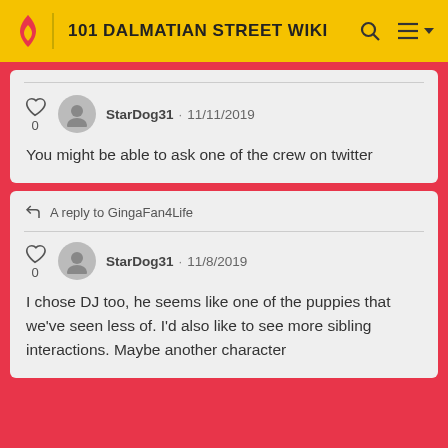101 DALMATIAN STREET WIKI
StarDog31 · 11/11/2019
You might be able to ask one of the crew on twitter
A reply to GingaFan4Life
StarDog31 · 11/8/2019
I chose DJ too, he seems like one of the puppies that we've seen less of. I'd also like to see more sibling interactions. Maybe another character